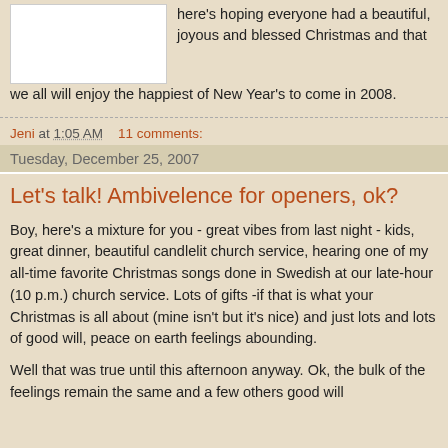[Figure (photo): White rectangle placeholder image]
here's hoping everyone had a beautiful, joyous and blessed Christmas and that we all will enjoy the happiest of New Year's to come in 2008.
Jeni at 1:05 AM    11 comments:
Tuesday, December 25, 2007
Let's talk! Ambivelence for openers, ok?
Boy, here's a mixture for you - great vibes from last night - kids, great dinner, beautiful candlelit church service, hearing one of my all-time favorite Christmas songs done in Swedish at our late-hour (10 p.m.) church service. Lots of gifts -if that is what your Christmas is all about (mine isn't but it's nice) and just lots and lots of good will, peace on earth feelings abounding.
Well that was true until this afternoon anyway. Ok, the bulk of the feelings remain the same and a few others good will